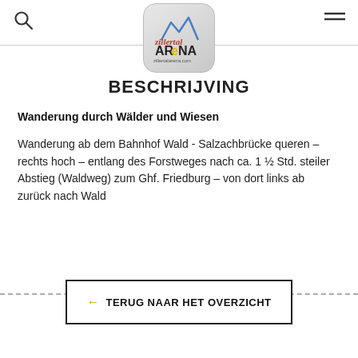Zillertal Arena – zillertalarena.com
BESCHRIJVING
Wanderung durch Wälder und Wiesen
Wanderung ab dem Bahnhof Wald - Salzachbrücke queren – rechts hoch – entlang des Forstweges nach ca. 1 ½ Std. steiler Abstieg (Waldweg) zum Ghf. Friedburg – von dort links ab zurück nach Wald
← TERUG NAAR HET OVERZICHT